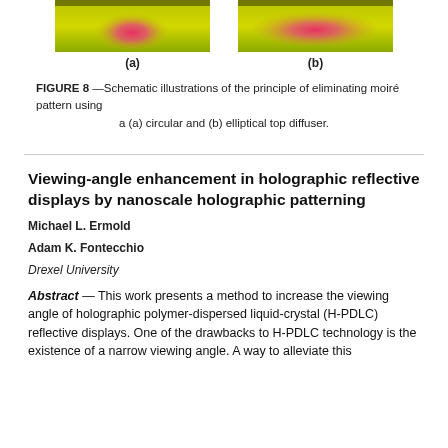[Figure (photo): Two side-by-side schematic illustration images showing moiré pattern elimination. Image (a) shows a circular top diffuser effect - a red/pink elliptical shape on a yellow-green background. Image (b) shows an elliptical top diffuser effect - a similar red/pink elliptical shape on a yellow-green background, wider/more diffuse.]
FIGURE 8 —Schematic illustrations of the principle of eliminating moiré pattern using a (a) circular and (b) elliptical top diffuser.
Viewing-angle enhancement in holographic reflective displays by nanoscale holographic patterning
Michael L. Ermold
Adam K. Fontecchio
Drexel University
Abstract — This work presents a method to increase the viewing angle of holographic polymer-dispersed liquid-crystal (H-PDLC) reflective displays. One of the drawbacks to H-PDLC technology is the existence of a narrow viewing angle. A way to alleviate this